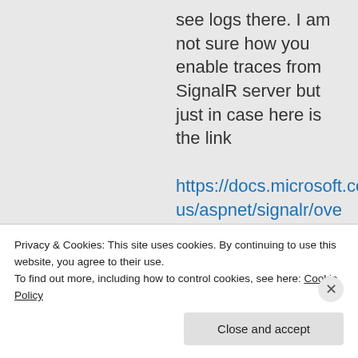see logs there. I am not sure how you enable traces from SignalR server but just in case here is the link https://docs.microsoft.com/en-us/aspnet/signalr/overview/testing-and-debugging/enabling-
Privacy & Cookies: This site uses cookies. By continuing to use this website, you agree to their use.
To find out more, including how to control cookies, see here: Cookie Policy